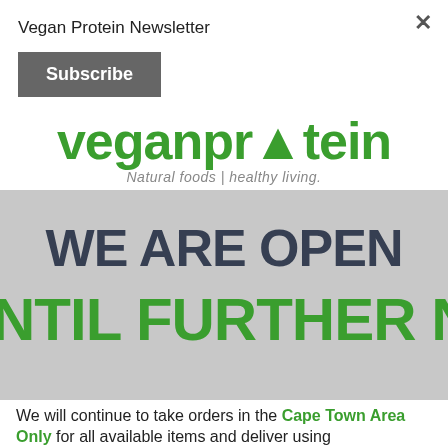Vegan Protein Newsletter
Subscribe
[Figure (logo): Vegan Protein logo with green stylized text and tagline 'Natural foods | healthy living.']
WE ARE OPEN UNTIL FURTHER NOTICE
We will continue to take orders in the Cape Town Area Only for all available items and deliver using